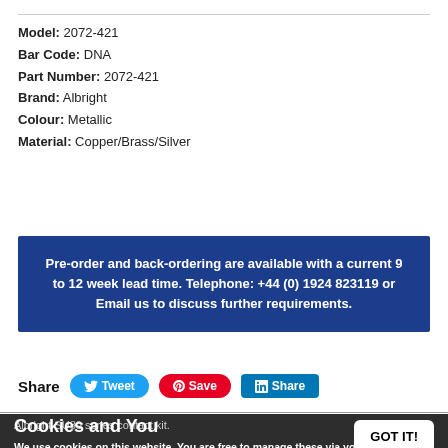Model: 2072-421
Bar Code: DNA
Part Number: 2072-421
Brand: Albright
Colour: Metallic
Material: Copper/Brass/Silver
Pre-order and back-ordering are available with a current 9 to 12 week lead time. Telephone: +44 (0) 1924 823119 or Email us to discuss further requirements.
Share
Albright SU80 series contact kit.
Cookies and You
We use cookies on this website. You are free to manage these via your browser settings at any time. For more about how we use cookies, please see our Privacy Policy.